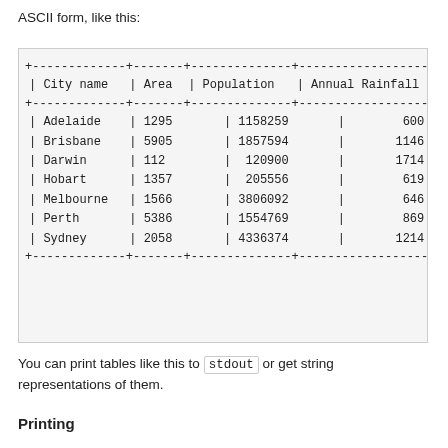ASCII form, like this:
| City name | Area | Population | Annual Rainfall |
| --- | --- | --- | --- |
| Adelaide | 1295 | 1158259 | 600.5 |
| Brisbane | 5905 | 1857594 | 1146.4 |
| Darwin | 112 | 120900 | 1714.7 |
| Hobart | 1357 | 205556 | 619.5 |
| Melbourne | 1566 | 3806092 | 646.9 |
| Perth | 5386 | 1554769 | 869.4 |
| Sydney | 2058 | 4336374 | 1214.8 |
You can print tables like this to stdout or get string representations of them.
Printing